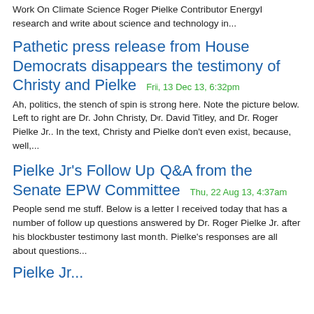Work On Climate Science Roger Pielke Contributor EnergyI research and write about science and technology in...
Pathetic press release from House Democrats disappears the testimony of Christy and Pielke
Fri, 13 Dec 13, 6:32pm
Ah, politics, the stench of spin is strong here. Note the picture below. Left to right are Dr. John Christy, Dr. David Titley, and Dr. Roger Pielke Jr.. In the text, Christy and Pielke don’t even exist, because, well,...
Pielke Jr’s Follow Up Q&A from the Senate EPW Committee
Thu, 22 Aug 13, 4:37am
People send me stuff. Below is a letter I received today that has a number of follow up questions answered by Dr. Roger Pielke Jr. after his blockbuster testimony last month. Pielke’s responses are all about questions...
Pielke Jr...